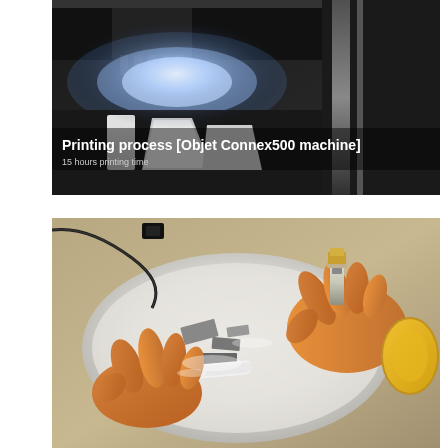[Figure (photo): 3D printing process showing bright UV light from Objet Connex500 machine head printing flat white parts on dark build platform. Text overlay reads 'Printing process [Objet Connex500 machine]' and '15 hours printing time'.]
[Figure (photo): Post-processing of 3D printed prosthetic hand/arm components being cleaned in white liquid (water/solvent). Orange/yellow rubber-like prosthetic fingers and components visible, with tools being used to clean the parts. A thin wire/cable is visible at top left.]